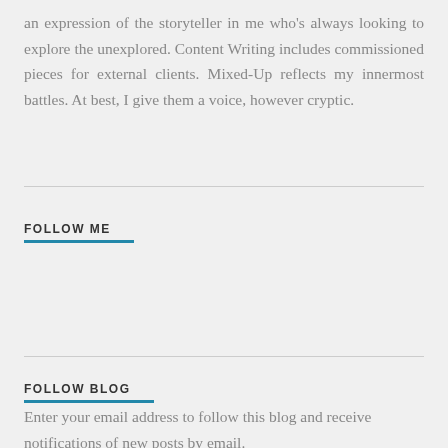an expression of the storyteller in me who's always looking to explore the unexplored. Content Writing includes commissioned pieces for external clients. Mixed-Up reflects my innermost battles. At best, I give them a voice, however cryptic.
FOLLOW ME
FOLLOW BLOG
Enter your email address to follow this blog and receive notifications of new posts by email.